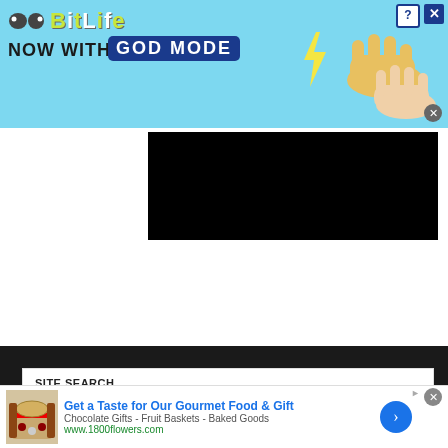[Figure (illustration): BitLife advertisement banner: 'NOW WITH GOD MODE' on a light blue background with cartoon hands and lightning bolt graphic]
[Figure (photo): Black rectangle representing a video player or image area embedded in a white content section]
SITE SEARCH
[Figure (logo): Google Custom Search logo/widget]
SEARCH HUSKERMAX
Underline links?
[Figure (illustration): Bottom advertisement: 'Get a Taste for Our Gourmet Food & Gift' from 1800flowers.com showing food gift basket image]